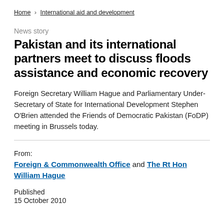Home > International aid and development
News story
Pakistan and its international partners meet to discuss floods assistance and economic recovery
Foreign Secretary William Hague and Parliamentary Under-Secretary of State for International Development Stephen O'Brien attended the Friends of Democratic Pakistan (FoDP) meeting in Brussels today.
From:
Foreign & Commonwealth Office and The Rt Hon William Hague
Published
15 October 2010